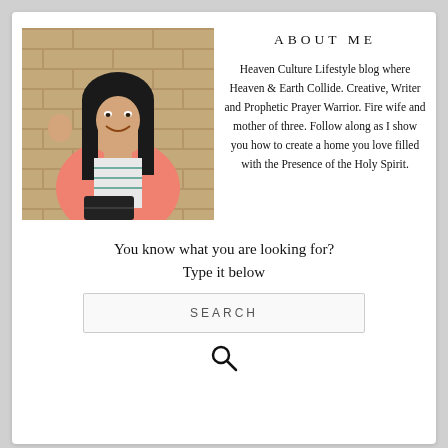[Figure (photo): Woman with dark hair wearing a coral/salmon cardigan over a patterned top, standing against a brick wall, smiling]
ABOUT ME
Heaven Culture Lifestyle blog where Heaven & Earth Collide. Creative, Writer and Prophetic Prayer Warrior. Fire wife and mother of three. Follow along as I show you how to create a home you love filled with the Presence of the Holy Spirit.
You know what you are looking for? Type it below
SEARCH
[Figure (other): Search icon (magnifying glass)]